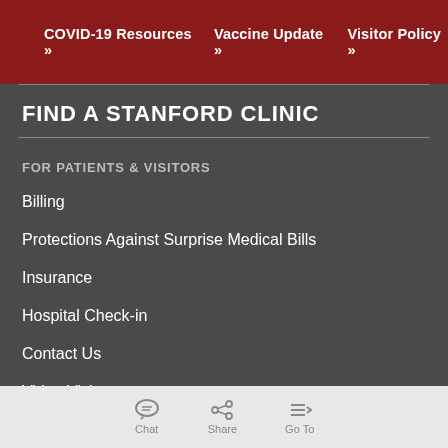COVID-19 Resources »   Vaccine Update »   Visitor Policy »
FIND A STANFORD CLINIC
FOR PATIENTS & VISITORS
Billing
Protections Against Surprise Medical Bills
Insurance
Hospital Check-in
Contact Us
Video Visits
Send a Greeting Card
Chat   Share   Go To